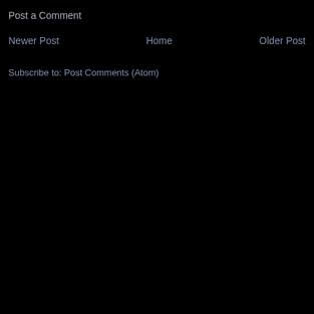Post a Comment
Newer Post
Home
Older Post
Subscribe to: Post Comments (Atom)